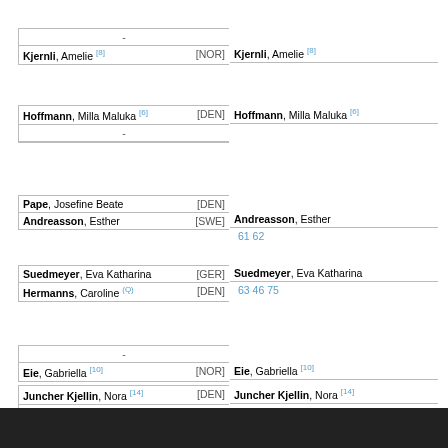| Kjernli, Amelie [8] | [NOR] | Kjernli, Amelie [8] |  |
| Hoffmann, Milla Maluka [6] | [DEN] | Hoffmann, Milla Maluka [6] |  |
| Pape, Josefine Beate | [DEN] | Andreasson, Esther |  |
| Andreasson, Esther | [SWE] | 61 62 |  |
| Suedmeyer, Eva Katharina | [GER] | Suedmeyer, Eva Katharina |  |
| Hermanns, Caroline (Q) | [DEN] | 63 46 75 |  |
| Eie, Gabriella [10] | [NOR] | Eie, Gabriella [10] |  |
| Juncher Kjellin, Nora [14] | [DEN] | Juncher Kjellin, Nora [14] |  |